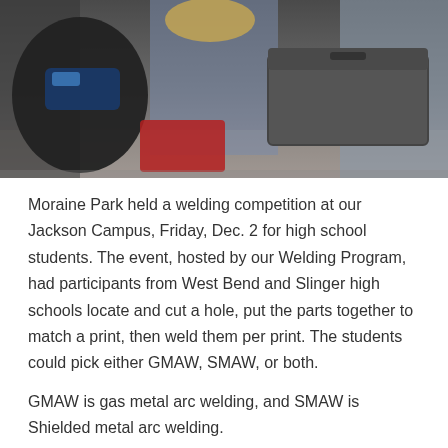[Figure (photo): Group of high school students at a welding competition at Moraine Park's Jackson Campus, showing welding helmets, toolboxes, and students in plaid shirts]
Moraine Park held a welding competition at our Jackson Campus, Friday, Dec. 2 for high school students.  The event, hosted by our Welding Program, had participants from West Bend and Slinger high schools locate and cut a hole, put the parts together to match a print, then weld them per print.  The students could pick either GMAW, SMAW, or both.
GMAW is gas metal arc welding, and SMAW is Shielded metal arc welding.
So who won the event? Check out below to find out: